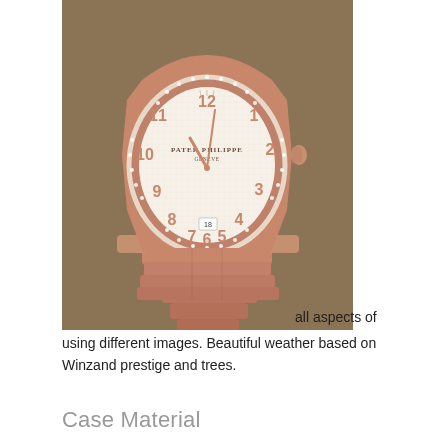[Figure (photo): A Patek Philippe rose gold watch with diamond-set bezel and integrated rose gold bracelet, displayed on a warm brown background. The white dial features Arabic numerals and shows the date at 6 o'clock.]
all aspects of using different images. Beautiful weather based on Winzand prestige and trees.
Case Material